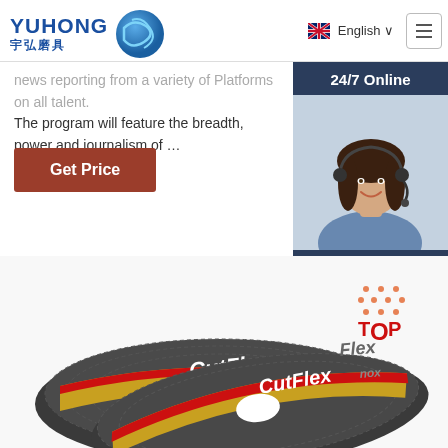YUHONG 宇弘磨具 | English
...news reporting from a variety of Platforms on all talent. The program will feature the breadth, power and journalism of ...
Get Price
[Figure (infographic): Sidebar panel with '24/7 Online' header in dark blue, photo of female customer service agent with headset, 'Click here for free chat!' text, and orange QUOTATION button]
[Figure (photo): Stack of CutFlex /inox abrasive cutting discs with yellow and red label branding, photographed on white background]